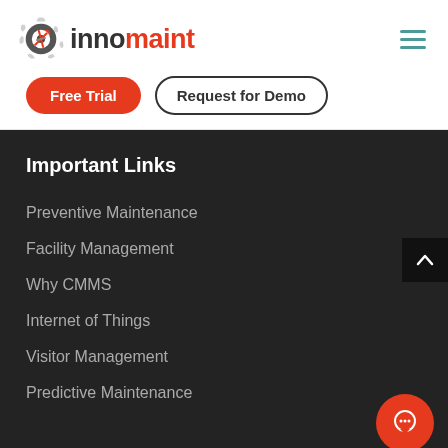[Figure (logo): Innomaint logo with gear icon on the left and text 'innomaint' where 'inno' is dark and 'maint' is red]
Free Trial
Request for Demo
Important Links
Preventive Maintenance
Facility Management
Why CMMS
Internet of Things
Visitor Management
Predictive Maintenance